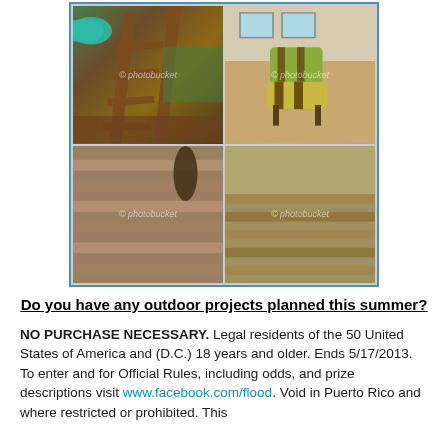[Figure (photo): A collage of three outdoor/deck photos: top-left shows a wooden ladder on a children's play structure with a green tube slide and mulch ground; top-right shows patio furniture with striped cushions on a deck near a house; bottom-right shows a close-up of weathered wooden deck boards with a furniture leg visible. Photos are arranged in a grid with a blue border, with a photobucket watermark.]
Do you have any outdoor projects planned this summer?
NO PURCHASE NECESSARY. Legal residents of the 50 United States of America and (D.C.) 18 years and older. Ends 5/17/2013. To enter and for Official Rules, including odds, and prize descriptions visit www.facebook.com/flood. Void in Puerto Rico and where restricted or prohibited. This